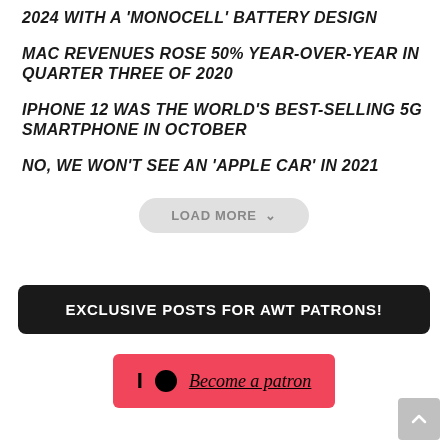2024 WITH A 'MONOCELL' BATTERY DESIGN
MAC REVENUES ROSE 50% YEAR-OVER-YEAR IN QUARTER THREE OF 2020
IPHONE 12 WAS THE WORLD'S BEST-SELLING 5G SMARTPHONE IN OCTOBER
NO, WE WON'T SEE AN 'APPLE CAR' IN 2021
LOAD MORE
EXCLUSIVE POSTS FOR AWT PATRONS!
Become a patron